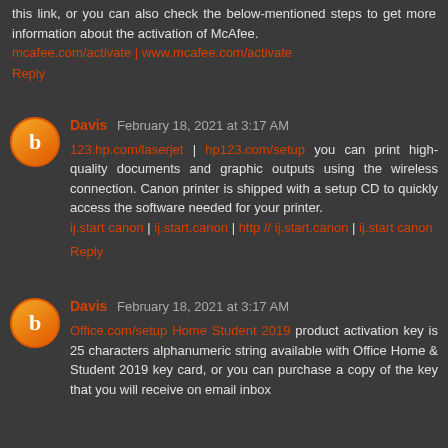this link, or you can also check the below-mentioned steps to get more information about the activation of McAfee. mcafee.com/activate | www.mcafee.com/activate
Reply
Davis February 18, 2021 at 3:17 AM
123.hp.com/laserjet | hp123.com/setup you can print high-quality documents and graphic outputs using the wireless connection. Canon printer is shipped with a setup CD to quickly access the software needed for your printer. ij.start canon | ij.start.canon | http // ij.start.canon | ij.start canon
Reply
Davis February 18, 2021 at 3:17 AM
Office.com/setup Home Student 2019 product activation key is 25 characters alphanumeric string available with Office Home & Student 2019 key card, or you can purchase a copy of the key that you will receive on email inbox